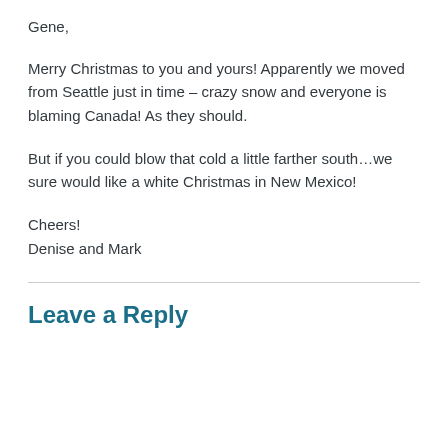Gene,
Merry Christmas to you and yours! Apparently we moved from Seattle just in time – crazy snow and everyone is blaming Canada! As they should.
But if you could blow that cold a little farther south…we sure would like a white Christmas in New Mexico!
Cheers!
Denise and Mark
Leave a Reply